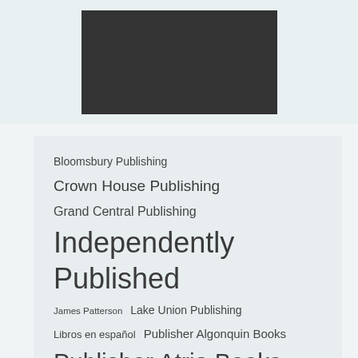[Figure (photo): Dark rectangular image placeholder in light blue-gray top section]
Bloomsbury Publishing
Crown House Publishing
Grand Central Publishing
Independently Published
James Patterson
Lake Union Publishing
Libros en español
Publisher Algonquin Books
Publisher Atria Books
Publisher Avid Reader Press